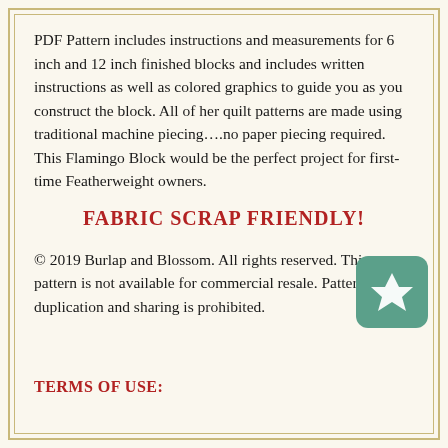PDF Pattern includes instructions and measurements for 6 inch and 12 inch finished blocks and includes written instructions as well as colored graphics to guide you as you construct the block. All of her quilt patterns are made using traditional machine piecing….no paper piecing required. This Flamingo Block would be the perfect project for first-time Featherweight owners.
FABRIC SCRAP FRIENDLY!
© 2019 Burlap and Blossom. All rights reserved. This pattern is not available for commercial resale. Pattern duplication and sharing is prohibited.
[Figure (logo): Green rounded square badge with a white four-pointed star/diamond shape in the center]
TERMS OF USE: